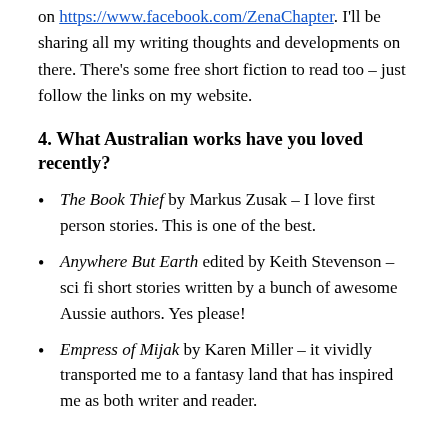on https://www.facebook.com/ZenaChapter. I'll be sharing all my writing thoughts and developments on there. There's some free short fiction to read too – just follow the links on my website.
4. What Australian works have you loved recently?
The Book Thief by Markus Zusak – I love first person stories. This is one of the best.
Anywhere But Earth edited by Keith Stevenson – sci fi short stories written by a bunch of awesome Aussie authors. Yes please!
Empress of Mijak by Karen Miller – it vividly transported me to a fantasy land that has inspired me as both writer and reader.